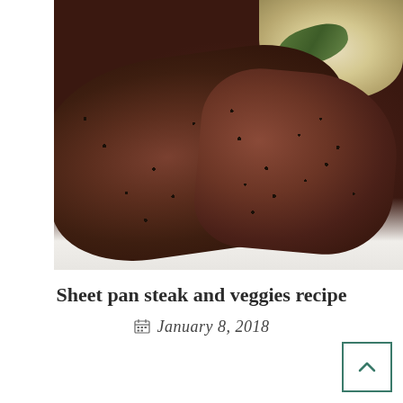[Figure (photo): Close-up photograph of sliced cooked steak seasoned with pepper and garlic on a white plate, with roasted potato cubes and green vegetables visible in the upper right corner.]
Sheet pan steak and veggies recipe
January 8, 2018